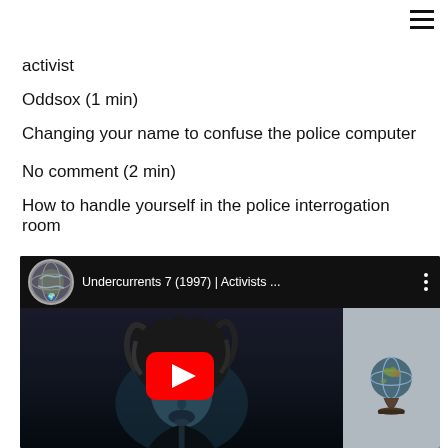≡
activist
Oddsox (1 min)
Changing your name to confuse the police computer
No comment (2 min)
How to handle yourself in the police interrogation room
[Figure (screenshot): YouTube video embed showing 'Undercurrents 7 (1997) | Activists ...' with a globe channel icon, play button overlay, and a person with messy hair facing camera in dark lighting.]